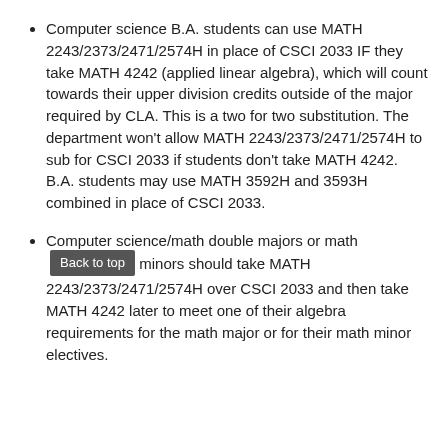Computer science B.A. students can use MATH 2243/2373/2471/2574H in place of CSCI 2033 IF they take MATH 4242 (applied linear algebra), which will count towards their upper division credits outside of the major required by CLA. This is a two for two substitution. The department won't allow MATH 2243/2373/2471/2574H to sub for CSCI 2033 if students don't take MATH 4242. B.A. students may use MATH 3592H and 3593H combined in place of CSCI 2033.
Computer science/math double majors or math minors should take MATH 2243/2373/2471/2574H over CSCI 2033 and then take MATH 4242 later to meet one of their algebra requirements for the math major or for their math minor electives.